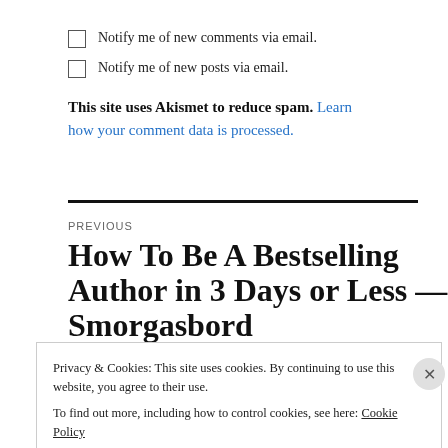Notify me of new comments via email.
Notify me of new posts via email.
This site uses Akismet to reduce spam. Learn how your comment data is processed.
PREVIOUS
How To Be A Bestselling Author in 3 Days or Less — Smorgasbord
Privacy & Cookies: This site uses cookies. By continuing to use this website, you agree to their use. To find out more, including how to control cookies, see here: Cookie Policy
Close and accept